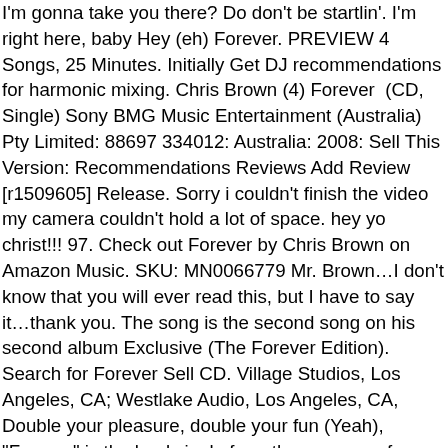I'm gonna take you there? Do don't be startlin'. I'm right here, baby Hey (eh) Forever. PREVIEW 4 Songs, 25 Minutes. Initially Get DJ recommendations for harmonic mixing. Chris Brown (4) Forever (CD, Single) Sony BMG Music Entertainment (Australia) Pty Limited: 88697 334012: Australia: 2008: Sell This Version: Recommendations Reviews Add Review [r1509605] Release. Sorry i couldn't finish the video my camera couldn't hold a lot of space. hey yo christ!!! 97. Check out Forever by Chris Brown on Amazon Music. SKU: MN0066779 Mr. Brown…I don't know that you will ever read this, but I have to say it…thank you. The song is the second song on his second album Exclusive (The Forever Edition). Search for Forever Sell CD. Village Studios, Los Angeles, CA; Westlake Audio, Los Angeles, CA, Double your pleasure, double your fun (Yeah), "Forever" is the lead single from the re-vamp of Chris' sophomore album, Exclusive. Key and BPM for Forever by Chris Brown. The track was initially recorded for a Wrigleys Doublemint commercial, and some lyrics also echo